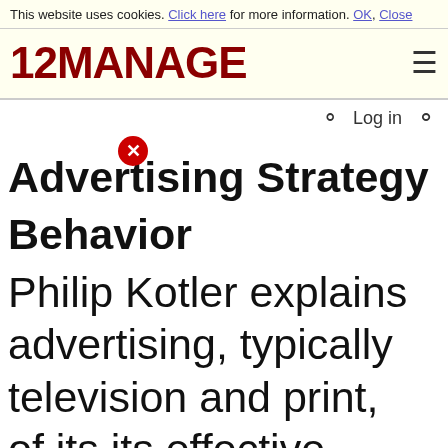This website uses cookies. Click here for more information. OK, Close
[Figure (logo): 12MANAGE logo in dark red bold text with hamburger menu icon]
Advertising Strategy
Behavior
Philip Kotler explains advertising, typically television and print, of its its effective...